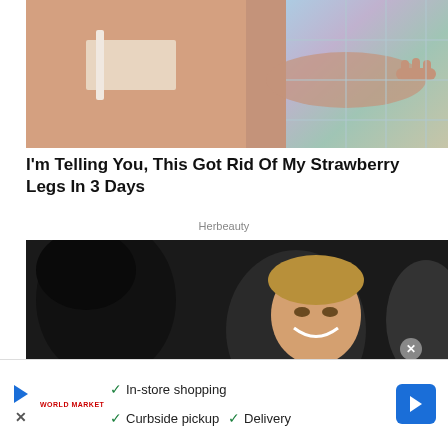[Figure (photo): Close-up photo of a woman's torso and hand near a surface with iridescent/glittery texture]
I'm Telling You, This Got Rid Of My Strawberry Legs In 3 Days
Herbeauty
[Figure (photo): Dark scene showing a smiling man with blonde hair surrounded by people in black]
✓ In-store shopping
✓ Curbside pickup  ✓ Delivery